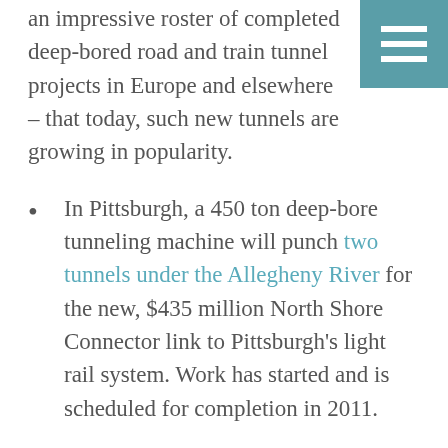an impressive roster of completed deep-bored road and train tunnel projects in Europe and elsewhere – that today, such new tunnels are growing in popularity.
In Pittsburgh, a 450 ton deep-bore tunneling machine will punch two tunnels under the Allegheny River for the new, $435 million North Shore Connector link to Pittsburgh's light rail system. Work has started and is scheduled for completion in 2011.
In Spain, a high-speed rail line running from Madrid to the French border will include a 5.64 kilometer tunnel under